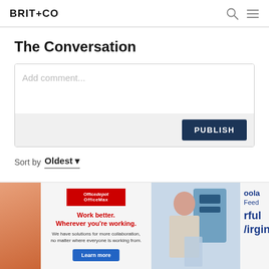BRIT+CO
The Conversation
Add comment...
PUBLISH
Sort by Oldest
[Figure (screenshot): Advertisement banner showing Office Depot OfficeMax ad with text 'Work better. Wherever you're working. We have solutions for more collaboration, no matter where everyone is working from.' with a Learn more button; a photo of a woman organizing files; and a partial Oola Feed advertisement.]